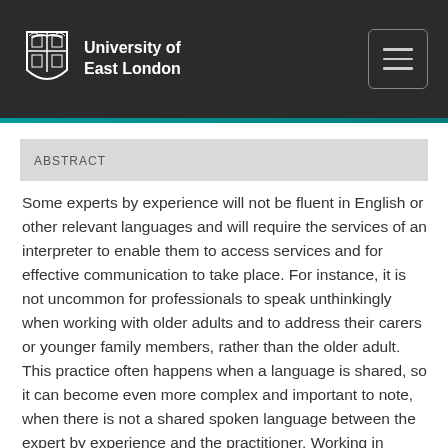University of East London
ABSTRACT
Some experts by experience will not be fluent in English or other relevant languages and will require the services of an interpreter to enable them to access services and for effective communication to take place. For instance, it is not uncommon for professionals to speak unthinkingly when working with older adults and to address their carers or younger family members, rather than the older adult. This practice often happens when a language is shared, so it can become even more complex and important to note, when there is not a shared spoken language between the expert by experience and the practitioner. Working in partnership with an interpreter requires a skill which all health and social